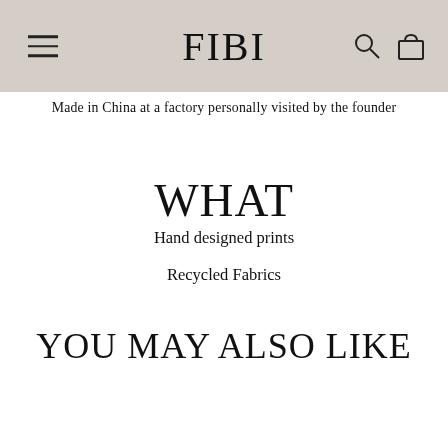FIBI
Made in China at a factory personally visited by the founder
WHAT
Hand designed prints
Recycled Fabrics
YOU MAY ALSO LIKE